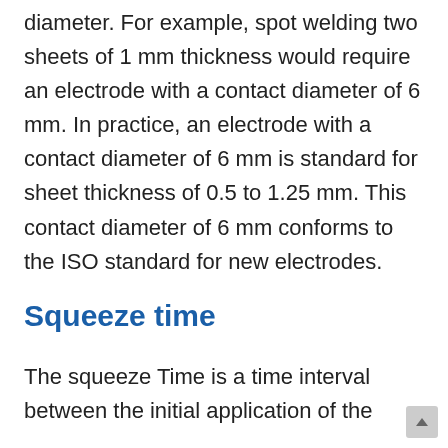diameter. For example, spot welding two sheets of 1 mm thickness would require an electrode with a contact diameter of 6 mm. In practice, an electrode with a contact diameter of 6 mm is standard for sheet thickness of 0.5 to 1.25 mm. This contact diameter of 6 mm conforms to the ISO standard for new electrodes.
Squeeze time
The squeeze Time is a time interval between the initial application of the